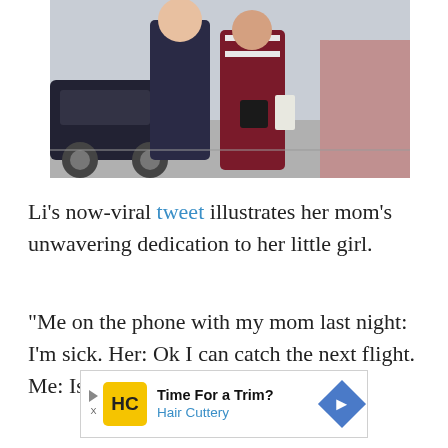[Figure (photo): Two people standing on a sidewalk, one wearing a dark jacket and the other wearing a dark red/maroon coat with a striped top and carrying a black bag. Cars and a brick building visible in the background.]
Li’s now-viral tweet illustrates her mom’s unwavering dedication to her little girl.
“Me on the phone with my mom last night: I’m sick. Her: Ok I can catch the next flight. Me: Is that a joke?”
[Figure (other): Advertisement: Time For a Trim? Hair Cuttery — with Hair Cuttery logo on yellow background and blue diamond arrow icon on right.]